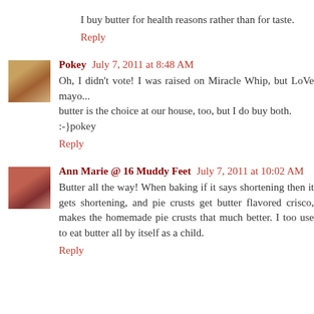I buy butter for health reasons rather than for taste.
Reply
Pokey  July 7, 2011 at 8:48 AM
Oh, I didn't vote! I was raised on Miracle Whip, but LoVe mayo...
butler is the choice at our house, too, but I do buy both.
:-}pokey
Reply
Ann Marie @ 16 Muddy Feet  July 7, 2011 at 10:02 AM
Butter all the way! When baking if it says shortening then it gets shortening, and pie crusts get butter flavored crisco, makes the homemade pie crusts that much better. I too use to eat butter all by itself as a child.
Reply